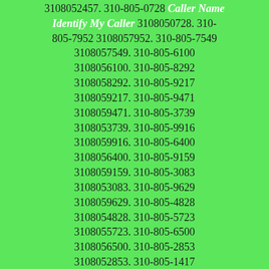3108052457. 310-805-0728 Caller Name Identify My Caller 3108050728. 310-805-7952 3108057952. 310-805-7549 3108057549. 310-805-6100 3108056100. 310-805-8292 3108058292. 310-805-9217 3108059217. 310-805-9471 3108059471. 310-805-3739 3108053739. 310-805-9916 3108059916. 310-805-6400 3108056400. 310-805-9159 3108059159. 310-805-3083 3108053083. 310-805-9629 3108059629. 310-805-4828 3108054828. 310-805-5723 3108055723. 310-805-6500 3108056500. 310-805-2853 3108052853. 310-805-1417 3108051417. 310-805-3574 3108053574. 310-805-6467 3108056467. 310-805-7719 3108057719. 310-805-3583 3108053583. 310-805-6773 3108056773. 310-805-9705 3108059705. 310-805-0176 Caller Name